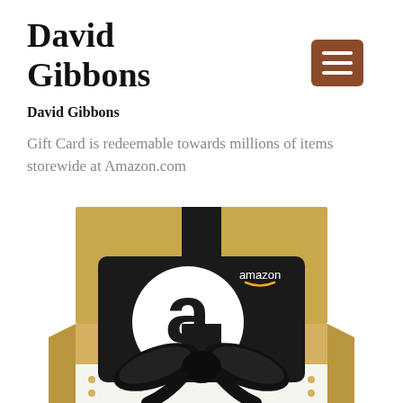David Gibbons
David Gibbons
[Figure (logo): Hamburger menu icon — brown/tan rounded rectangle with three white horizontal lines]
Gift Card is redeemable towards millions of items storewide at Amazon.com
[Figure (photo): Amazon gift card in black with white and gold Amazon logo and smile, placed in front of a gold gift box with black ribbon and bow]